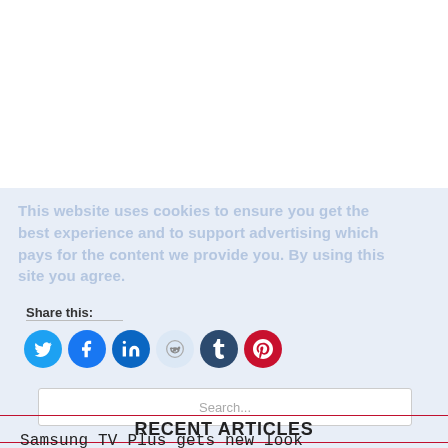This website uses cookies to ensure you get the best experience and to support advertising which pays for the content we provide you. By using this site you agree.
Share this:
[Figure (infographic): Social share buttons: Twitter (blue circle), Facebook (blue circle), LinkedIn (blue circle), Reddit (light blue circle), Tumblr (dark navy circle), Pinterest (red circle)]
Search...
RECENT ARTICLES
Samsung TV Plus gets new look